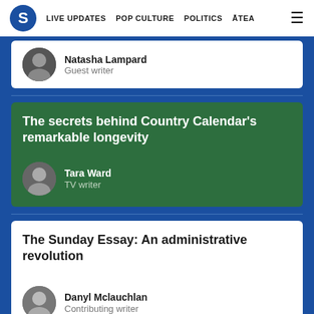S LIVE UPDATES POP CULTURE POLITICS ĀTEA ☰
Natasha Lampard
Guest writer
The secrets behind Country Calendar's remarkable longevity
Tara Ward
TV writer
The Sunday Essay: An administrative revolution
Danyl Mclauchlan
Contributing writer